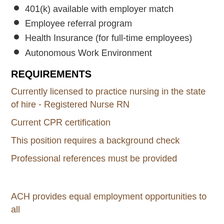401(k) available with employer match
Employee referral program
Health Insurance (for full-time employees)
Autonomous Work Environment
REQUIREMENTS
Currently licensed to practice nursing in the state of hire - Registered Nurse RN
Current CPR certification
This position requires a background check
Professional references must be provided
ACH provides equal employment opportunities to all